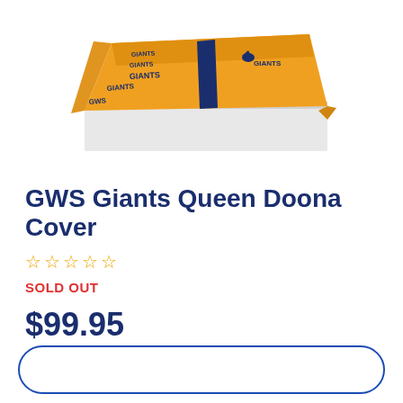[Figure (photo): GWS Giants branded orange queen doona cover draped over a white mattress/box, with dark navy stripe and GIANTS logo/text visible]
GWS Giants Queen Doona Cover
☆☆☆☆☆
SOLD OUT
$99.95